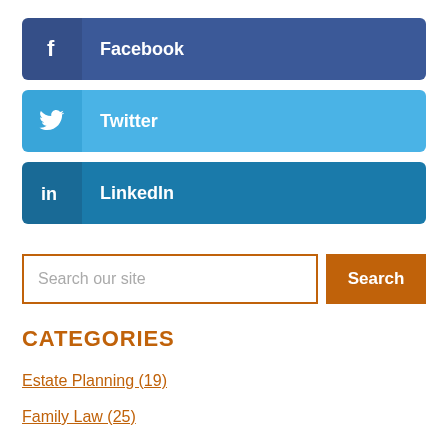[Figure (other): Facebook social share button with Facebook icon and label]
[Figure (other): Twitter social share button with Twitter bird icon and label]
[Figure (other): LinkedIn social share button with LinkedIn icon and label]
Search our site
CATEGORIES
Estate Planning (19)
Family Law (25)